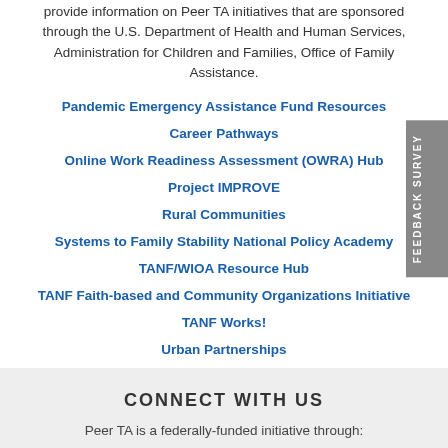provide information on Peer TA initiatives that are sponsored through the U.S. Department of Health and Human Services, Administration for Children and Families, Office of Family Assistance.
Pandemic Emergency Assistance Fund Resources
Career Pathways
Online Work Readiness Assessment (OWRA) Hub
Project IMPROVE
Rural Communities
Systems to Family Stability National Policy Academy
TANF/WIOA Resource Hub
TANF Faith-based and Community Organizations Initiative
TANF Works!
Urban Partnerships
CONNECT WITH US
Peer TA is a federally-funded initiative through: